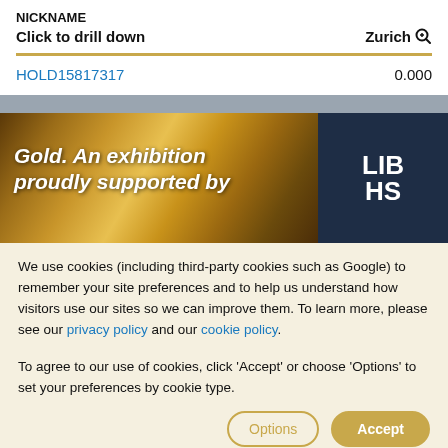NICKNAME
Click to drill down	Zurich
HOLD15817317	0.000
[Figure (photo): Gold exhibition banner image with text 'Gold. An exhibition proudly supported by' overlaid on gold metallic background, with dark blue panel on right showing partial text 'LIB HS']
We use cookies (including third-party cookies such as Google) to remember your site preferences and to help us understand how visitors use our sites so we can improve them. To learn more, please see our privacy policy and our cookie policy.
To agree to our use of cookies, click 'Accept' or choose 'Options' to set your preferences by cookie type.